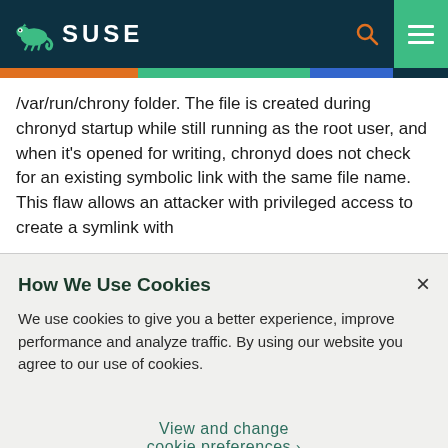SUSE
/var/run/chrony folder. The file is created during chronyd startup while still running as the root user, and when it's opened for writing, chronyd does not check for an existing symbolic link with the same file name. This flaw allows an attacker with privileged access to create a symlink with
How We Use Cookies
We use cookies to give you a better experience, improve performance and analyze traffic. By using our website you agree to our use of cookies.
View and change cookie preferences >